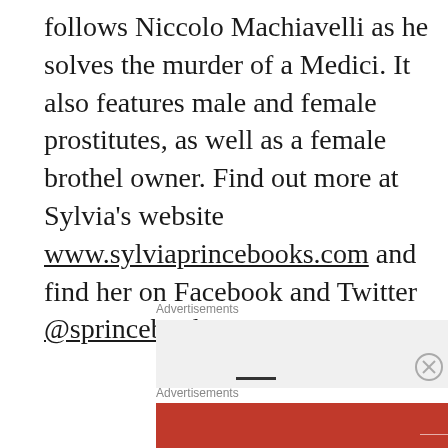follows Niccolo Machiavelli as he solves the murder of a Medici. It also features male and female prostitutes, as well as a female brothel owner. Find out more at Sylvia's website www.sylviaprincebooks.com and find her on Facebook and Twitter @sprincebooks.
Advertisements
[Figure (other): Advertisement box with Longreads banner: 'The best stories on the web – ours, and everyone else's.']